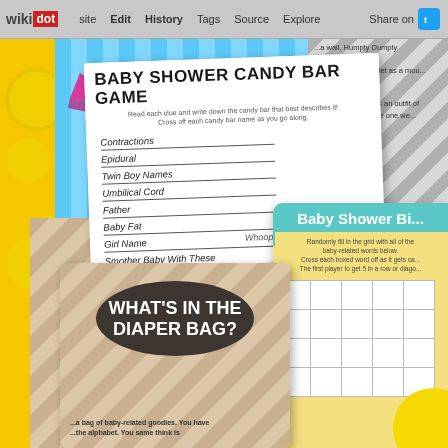wikidot | Edit | History | Tags | Source | Explore | Share on Twitter
[Figure (screenshot): Baby shower games webpage screenshot showing: (1) Baby Shower Candy Bar Game card with list of clues including Contractions, Epidural, Twin Boy Names, Umbilical Cord, Father, Baby Fat, Girl Name, Smother Baby With These, Hospital Bill, Time Alone, Lull-A-Bye, Diapers Formula Medicine, 1st Year Of Parenthood, Dirty Laundry, Night Of Conception, Sweet Infant, Breast Feeding, Pooie Dia..., Triplet...; (2) Baby Shower Bingo card with teal header and grid; (3) What's In The Diaper Bag? card with dark oval and chevron background; decorative candy and lollipop graphics]
Contractions
Epidural
Twin Boy Names
Umbilical Cord
Father
Baby Fat
Girl Name
Smother Baby With These
Hospital Bill
Time Alone
Lull-A-Bye
Diapers, Formula, Medicine
1st Year Of Parenthood
Dirty Laundry
Night Of Conception
Sweet Infant
Breast Feeding
Pooie Dia...
Triplet...
BABY SHOWER CANDY BAR GAME
Read each clue and write down the candy bar that best describes it! Cross off each candy bar name as you go along.
Baby Shower Bi...
Randomly fill in the grid with all of the baby-related words below. Cross each boxed word off as it gets ca... The first player to get 5 in a row or diago...
WHAT'S IN THE DIAPER BAG?
...a bag of baby-related goodies. You have ...the alphabet. You same think is